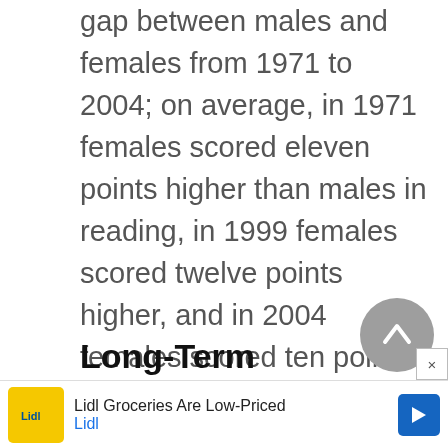gap between males and females from 1971 to 2004; on average, in 1971 females scored eleven points higher than males in reading, in 1999 females scored twelve points higher, and in 2004 females scored ten points higher than males in reading. The score gap between white and African-American students at age thirteen decreased seventeen points from 1971 to 2004.
Long-Term Trend Reading
Sc...